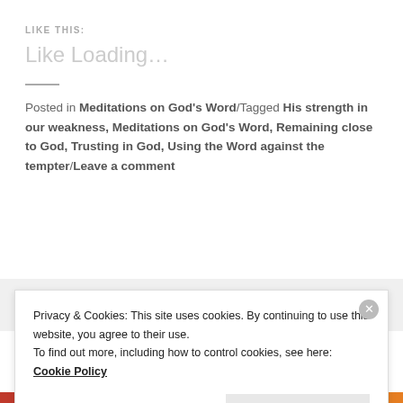LIKE THIS:
Like Loading…
Posted in Meditations on God's Word/Tagged His strength in our weakness, Meditations on God's Word, Remaining close to God, Trusting in God, Using the Word against the tempter/Leave a comment
PREVIOUS POST
DISCONNECTED... FROM GOD
Privacy & Cookies: This site uses cookies. By continuing to use this website, you agree to their use.
To find out more, including how to control cookies, see here: Cookie Policy
Close and accept